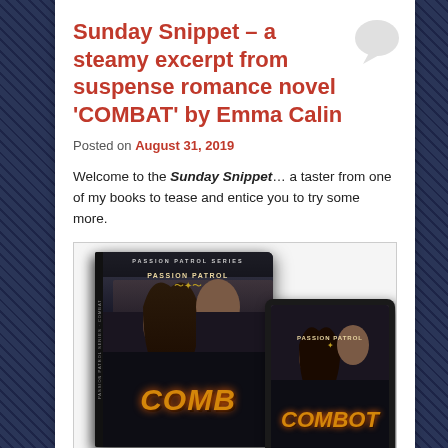Sunday Snippet – a steamy excerpt from suspense romance novel 'COMBAT' by Emma Calin
Posted on August 31, 2019
Welcome to the Sunday Snippet… a taster from one of my books to tease and entice you to try some more.
[Figure (photo): Book cover images for 'COMBAT' by Emma Calin from the Passion Patrol Series, showing a paperback book and a tablet device displaying the same cover art with two figures and fiery gold title text.]